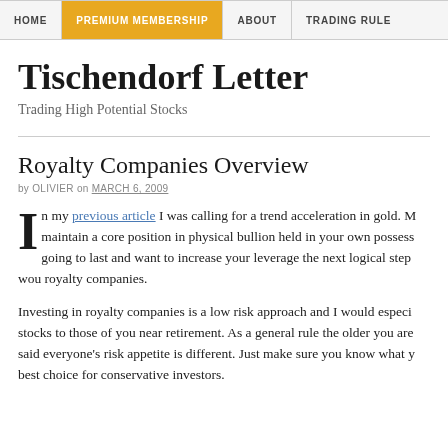HOME | PREMIUM MEMBERSHIP | ABOUT | TRADING RULE
Tischendorf Letter
Trading High Potential Stocks
Royalty Companies Overview
by OLIVIER on MARCH 6, 2009
In my previous article I was calling for a trend acceleration in gold. M maintain a core position in physical bullion held in your own possess going to last and want to increase your leverage the next logical step wou royalty companies.
Investing in royalty companies is a low risk approach and I would especi stocks to those of you near retirement. As a general rule the older you are said everyone's risk appetite is different. Just make sure you know what y best choice for conservative investors.